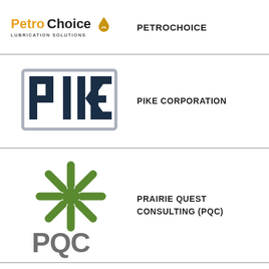[Figure (logo): PetroChoice Lubrication Solutions logo with gold droplet icon]
PETROCHOICE
[Figure (logo): Pike Corporation logo with large block letters PIKE in dark navy with outlined style]
PIKE CORPORATION
[Figure (logo): Prairie Quest Consulting PQC logo with green snowflake/asterisk and gray PQC letters]
PRAIRIE QUEST CONSULTING (PQC)
[Figure (logo): Raytheon logo partial view at bottom]